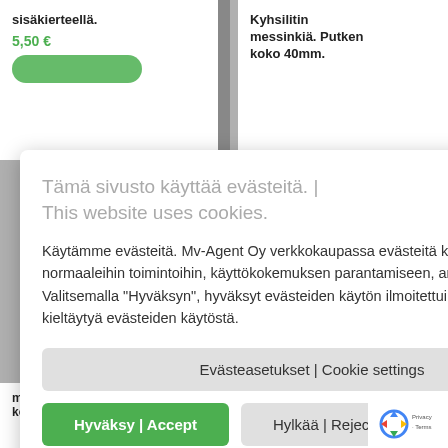sisäkierteellä.
5,50 €
Kyhsilitin messinkiä. Putken koko 40mm.
Tämä sivusto käyttää evästeitä. | This website uses cookies.
Käytämme evästeitä. Mv-Agent Oy verkkokaupassa evästeitä käytetään verkkosivuston normaaleihin toimintoihin, käyttökokemuksen parantamiseen, analytiikkaan ja markkinointiin. Valitsemalla "Hyväksyn", hyväksyt evästeiden käytön ilmoitettuihin tarkoituksiin. Voit myös kieltäytyä evästeiden käytöstä.
Evästeasetukset | Cookie settings
Hyväksy | Accept
Hylkää | Reject
met
messinkiä. Putke
messinkiä. Putke
Privacy · Terms